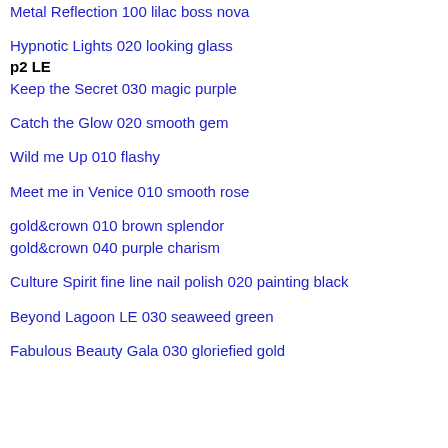Metal Reflection 100 lilac boss nova
Hypnotic Lights 020 looking glass
p2 LE
Keep the Secret 030 magic purple
Catch the Glow 020 smooth gem
Wild me Up 010 flashy
Meet me in Venice 010 smooth rose
gold&crown 010 brown splendor
gold&crown 040 purple charism
Culture Spirit fine line nail polish 020 painting black
Beyond Lagoon LE 030 seaweed green
Fabulous Beauty Gala 030 gloriefied gold